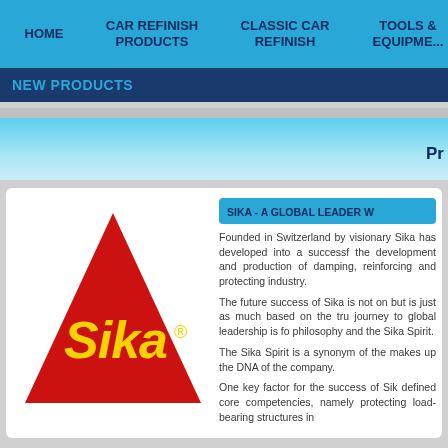HOME | CAR REFINISH PRODUCTS | CLASSIC CAR REFINISH | TOOLS & EQUIPMENT
NEW PRODUCTS
Pr
[Figure (logo): Sika logo: red triangle with yellow 'Sika' text and registered trademark symbol]
SIKA - A GLOBAL LEADER W
Founded in Switzerland by visionary Sika has developed into a successf the development and production of damping, reinforcing and protecting industry.
The future success of Sika is not on but is just as much based on the tru journey to global leadership is fo philosophy and the Sika Spirit.
The Sika Spirit is a synonym of the makes up the DNA of the company.
One key factor for the success of Sik defined core competencies, namely protecting load-bearing structures in